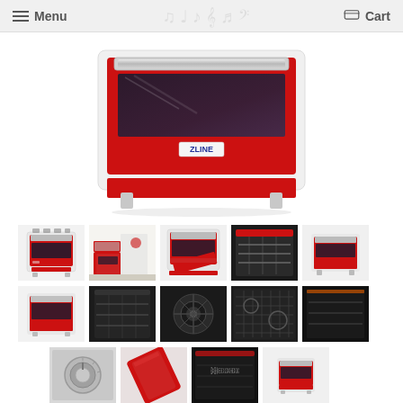Menu  Cart
[Figure (photo): ZLINE red range/oven appliance, front-facing product photo showing red door panel with stainless steel handle and glass window]
[Figure (photo): Gallery of 14 thumbnail product images showing various angles of a ZLINE red range: full front view, kitchen lifestyle, open oven, interior views, gas burners closeup, oven interior, knob detail, handle detail, interior mirror detail, small range view]